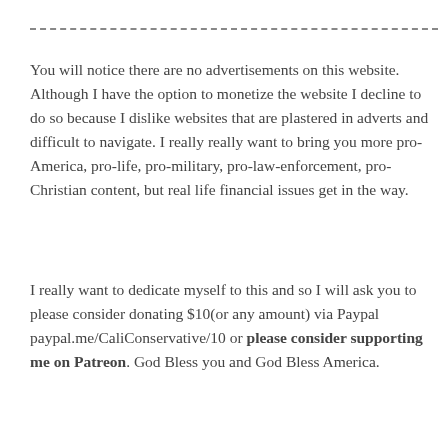— — — — — — — — — — — — — — — — — — — — — — — — — — — — — — — —
You will notice there are no advertisements on this website. Although I have the option to monetize the website I decline to do so because I dislike websites that are plastered in adverts and difficult to navigate. I really really want to bring you more pro-America, pro-life, pro-military, pro-law-enforcement, pro-Christian content, but real life financial issues get in the way.
I really want to dedicate myself to this and so I will ask you to please consider donating $10(or any amount) via Paypal paypal.me/CaliConservative/10 or please consider supporting me on Patreon. God Bless you and God Bless America.